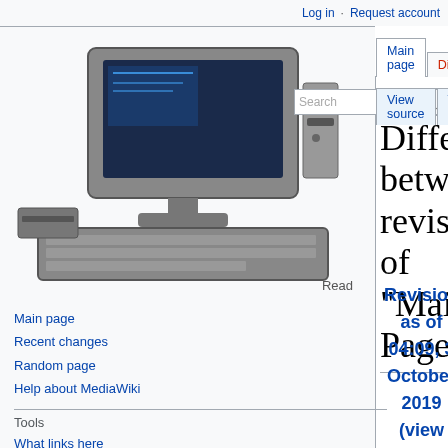Log in   Request account
[Figure (photo): Vintage computer setup with CRT monitor and keyboard]
Read
Main page
Recent changes
Random page
Help about MediaWiki
Tools
What links here
Related changes
Special pages
Printable version
Permanent link
Page information
Difference between revisions of "Main Page"
| Revision as of 04:09, 3 October 2019 (view source) | Revision as of 01:48, 13 February 2020 (view source) |
| --- | --- |
| Bkw (talk | contribs) | Bkw (talk | contribs) |
| (→3rd Party (new)) | (→3rd Party (new)) |
| ← Older edit | Newer edit → |